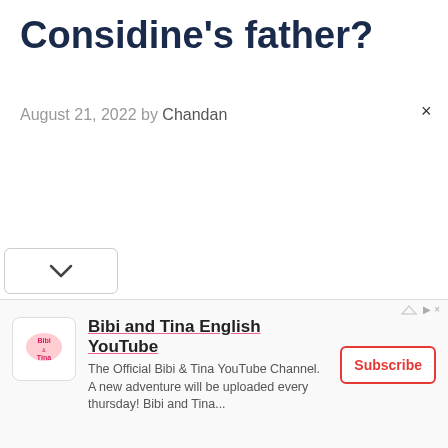Considine's father?
August 21, 2022 by Chandan
[Figure (other): Close button (×) in upper right corner of page]
[Figure (other): Dropdown chevron button at bottom left]
[Figure (other): Advertisement banner for Bibi and Tina English YouTube channel with logo, description, and Subscribe button]